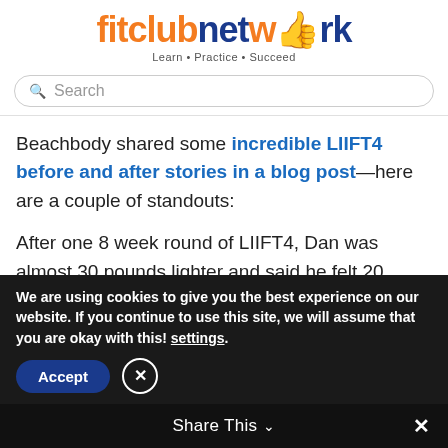[Figure (logo): fitclubnetwork logo with orange 'fit', dark blue 'club', thumbs up icon, dark blue 'network' text, and tagline 'Learn • Practice • Succeed']
Search
Beachbody shared some incredible LIIFT4 before and after stories in a blog post—here are a couple of standouts:
After one 8 week round of LIIFT4, Dan was almost 30 pounds lighter and said he felt 20 years younger. Uh, wow...he also LOOKS 20 years younger. 🤯
We are using cookies to give you the best experience on our website. If you continue to use this site, we will assume that you are okay with this! settings.
Share This